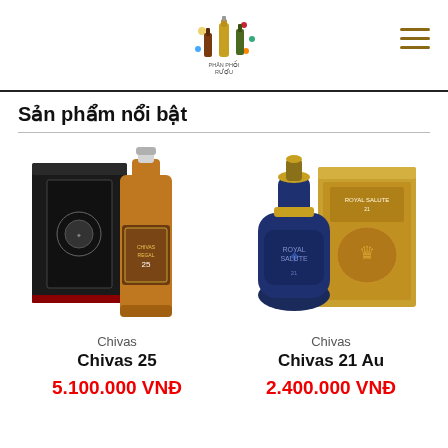Header with logo and hamburger menu
Sản phẩm nổi bật
[Figure (photo): Chivas 25 whisky bottle with black gift box]
Chivas
Chivas 25
5.100.000 VNĐ
[Figure (photo): Chivas 21 Au Royal Salute blue ceramic bottle with gold gift box]
Chivas
Chivas 21 Au
2.400.000 VNĐ